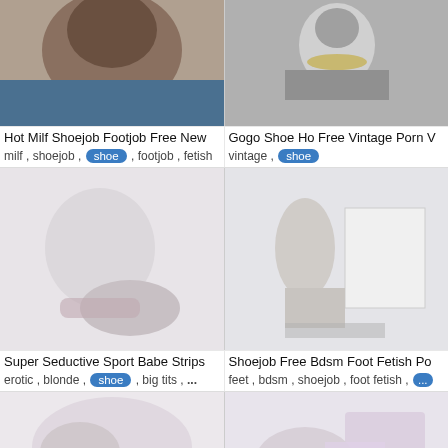[Figure (photo): Top-left thumbnail: close-up photo of person, dark hair, warm toned]
[Figure (photo): Top-right thumbnail: black and white photo of person with necklace]
Hot Milf Shoejob Footjob Free New
Gogo Shoe Ho Free Vintage Porn
milf , shoejob , shoe , footjob , fetish
vintage , shoe
[Figure (photo): Middle-left thumbnail: faint/washed out image of shoes/feet]
[Figure (photo): Middle-right thumbnail: faint/washed out image of person sitting by computer]
Super Seductive Sport Babe Strips
Shoejob Free Bdsm Foot Fetish Po
erotic , blonde , shoe , big tits , ...
feet , bdsm , shoejob , foot fetish , ...
[Figure (photo): Bottom-left thumbnail: faint/washed out image]
[Figure (photo): Bottom-right thumbnail: faint/washed out image with pinkish tones]